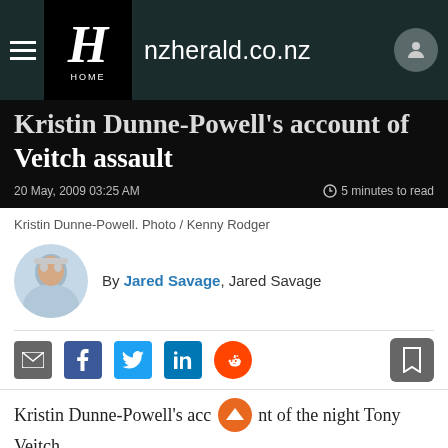nzherald.co.nz
Kristin Dunne-Powell's account of Veitch assault
20 May, 2009 03:25 AM
5 minutes to read
Kristin Dunne-Powell. Photo / Kenny Rodger
By Jared Savage, Jared Savage
Kristin Dunne-Powell's account of the night Tony Veitch
Access New Zealand's best journalism From $1.99 per week* T's and C's apply.